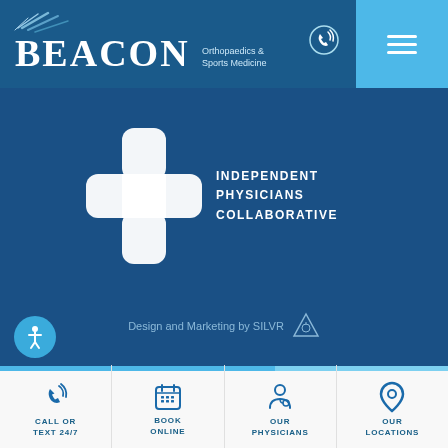[Figure (logo): Beacon Orthopaedics & Sports Medicine logo — white text on dark blue header bar, with decorative radiating lines above the B]
[Figure (logo): Independent Physicians Collaborative logo — white cross/bandage shape with text INDEPENDENT PHYSICIANS COLLABORATIVE]
Design and Marketing by SILVR
[Figure (logo): SILVR triangular logo mark]
[Figure (infographic): Accessibility icon — white stick figure in circle on cyan button]
CALL OR TEXT 24/7 | BOOK ONLINE | OUR PHYSICIANS | OUR LOCATIONS